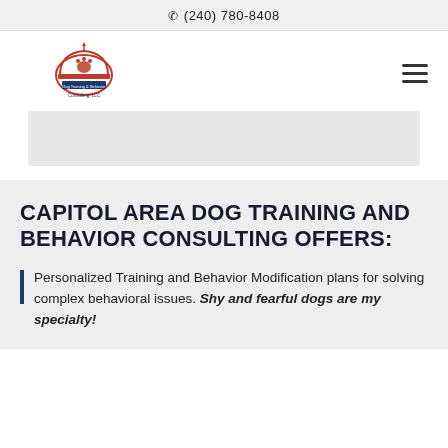(240) 780-8408
[Figure (logo): Capitol Area Dog Training and Behavior Consulting logo — red dome/paw icon with text]
CAPITOL AREA DOG TRAINING AND BEHAVIOR CONSULTING OFFERS:
Personalized Training and Behavior Modification plans for solving complex behavioral issues. Shy and fearful dogs are my specialty!